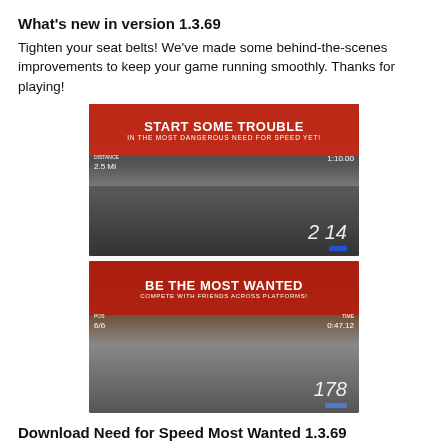What's new in version 1.3.69
Tighten your seat belts! We've made some behind-the-scenes improvements to keep your game running smoothly. Thanks for playing!
[Figure (screenshot): Need for Speed Most Wanted gameplay screenshot showing a blue sports car racing on a highway with the banner 'START SOME TROUBLE - IN THE MOST DANGEROUS NEED FOR SPEED YET!' Distance: 2.5 mi, Time: 1:10.00, Score: 2 14]
[Figure (screenshot): Need for Speed Most Wanted gameplay screenshot showing cars racing in a city at dusk with the banner 'BE THE MOST WANTED - COMPETE WITH FRIENDS ACROSS PLATFORMS!' POS: 6/6, TIME: 0:47.12, Score: 178]
Download Need for Speed Most Wanted 1.3.69